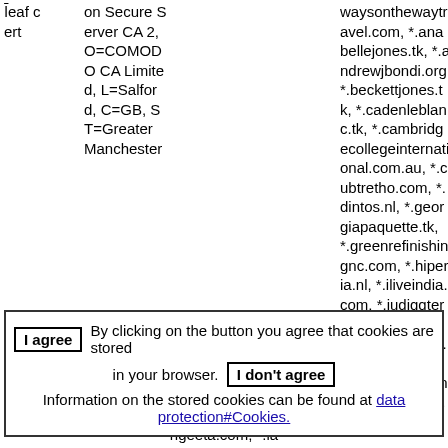| leaf cert | on Secure Server CA 2, O=COMODO CA Limited, L=Salford, C=GB, ST=Greater Manchester |  | waysonthewaytravel.com, *.anabellejones.tk, *.andrewjbondi.org, *.beckettjones.tk, *.cadenleplanc.tk, *.cambridgecollegeinternational.com.au, *.clubtretho.com, *.dintos.nl, *.georgiapaquette.tk, *.greenrefinishingnc.com, *.hiperia.nl, *.iliveindia.com, *.judiqqterpercaya.com, *.kaidencote.tk, *.kinsleysmith.tk, *.main-system.nl, *.opticaibarret |
I agree  By clicking on the button you agree that cookies are stored in your browser.  I don't agree  Information on the stored cookies can be found at data protection#Cookies.
ngeeta.com, *.la